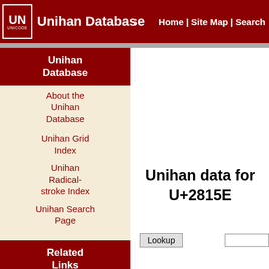Unihan Database | Home | Site Map | Search
Unihan Database
About the Unihan Database
Unihan Grid Index
Unihan Radical-stroke Index
Unihan Search Page
Related Links
Code Charts (PDF Version)
Unicode Character Names Index
Unihan data for U+2815E
Lookup
Grid Index
<<< Previous
Radical-stroke index (157.11-13)
Next >>>